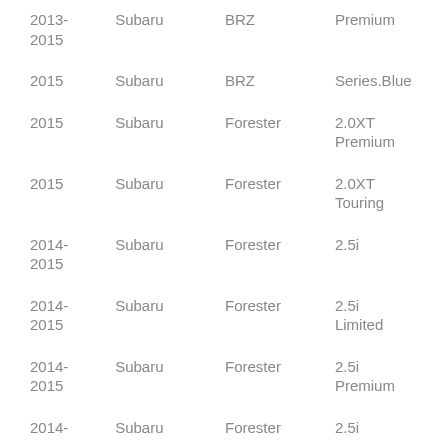| Year | Make | Model | Trim |
| --- | --- | --- | --- |
| 2013-2015 | Subaru | BRZ | Premium |
| 2015 | Subaru | BRZ | Series.Blue |
| 2015 | Subaru | Forester | 2.0XT Premium |
| 2015 | Subaru | Forester | 2.0XT Touring |
| 2014-2015 | Subaru | Forester | 2.5i |
| 2014-2015 | Subaru | Forester | 2.5i Limited |
| 2014-2015 | Subaru | Forester | 2.5i Premium |
| 2014- | Subaru | Forester | 2.5i |